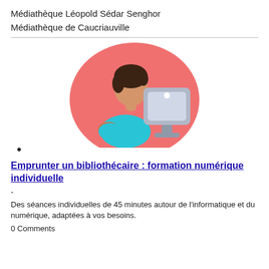Médiathèque Léopold Sédar Senghor
Médiathèque de Caucriauville
[Figure (illustration): Flat-style illustration of a person sitting at a computer on a pink/salmon circular background]
•
Emprunter un bibliothécaire : formation numérique individuelle
-
Des séances individuelles de 45 minutes autour de l'informatique et du numérique, adaptées à vos besoins.
0 Comments